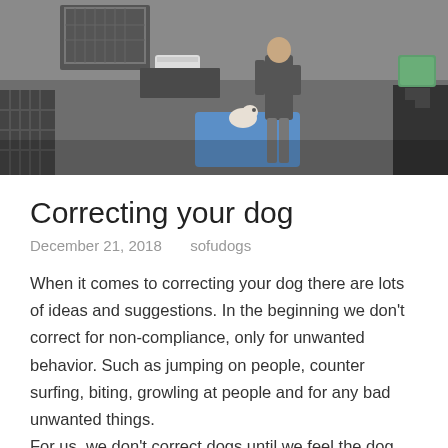[Figure (photo): A person standing in what appears to be a dog training facility or kennel, with a small dog on a blue platform/mat. Dog crates and equipment are visible in the background.]
Correcting your dog
December 21, 2018   sofudogs
When it comes to correcting your dog there are lots of ideas and suggestions. In the beginning we don't correct for non-compliance, only for unwanted behavior. Such as jumping on people, counter surfing, biting, growling at people and for any bad unwanted things.
For us, we don't correct dogs until we feel the dog understands what we are asking of them. If your dog doesn't understand what you are asking of...